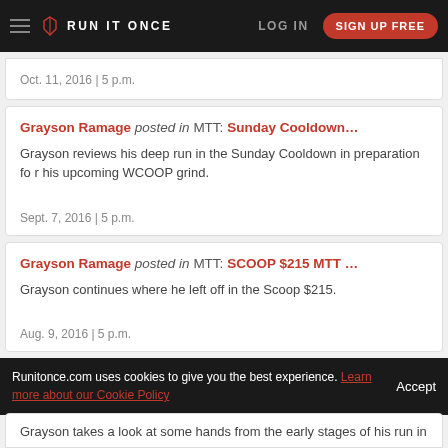RUN IT ONCE | LOG IN | SIGN UP FREE
Oct. 11, 2016 | 5 p.m.
Grayson Ramage posted in MTT: Sunday Cooldown... Grayson reviews his deep run in the Sunday Cooldown in preparation for his upcoming WCOOP grind. Sept. 7, 2016 | 5 p.m.
Grayson Ramage posted in MTT: SCOOP $215 MTT ... Grayson continues where he left off in the Scoop $215. Aug. 9, 2016 | 5 p.m.
Runitonce.com uses cookies to give you the best experience. Learn more about our Cookie Policy Accept
Grayson takes a look at some hands from the early stages of his run in